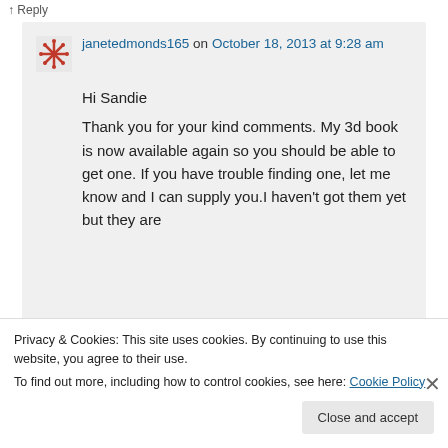↑ Reply
janetedmonds165 on October 18, 2013 at 9:28 am
Hi Sandie
Thank you for your kind comments. My 3d book is now available again so you should be able to get one. If you have trouble finding one, let me know and I can supply you.I haven't got them yet but they are
Privacy & Cookies: This site uses cookies. By continuing to use this website, you agree to their use.
To find out more, including how to control cookies, see here: Cookie Policy
Close and accept